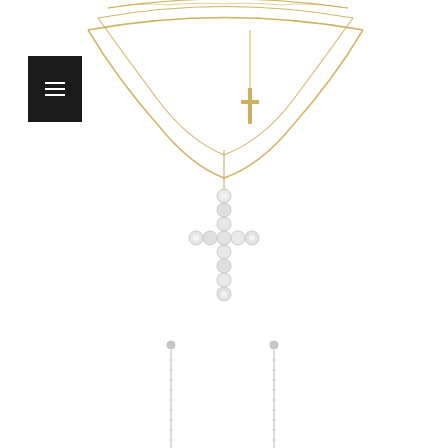[Figure (photo): Product photo showing layered gold-tone necklaces with cross pendants (one small gold cross on shorter chain, one larger crystal/rhinestone cross on longer chain), displayed on white background. Below, two long linear drop earrings or chain pieces are shown side by side on white background.]